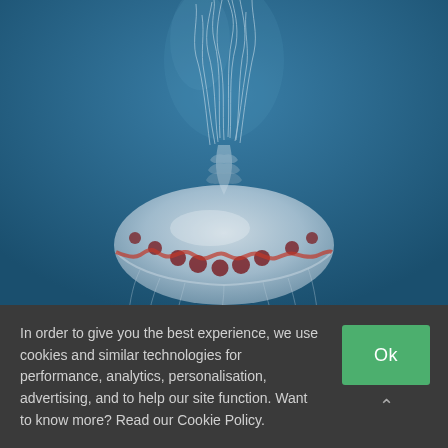[Figure (photo): A jellyfish with a translucent bell marked with red/maroon spots and reddish patterns, with long trailing tentacles extending upward, photographed against a deep blue underwater background.]
In order to give you the best experience, we use cookies and similar technologies for performance, analytics, personalisation, advertising, and to help our site function. Want to know more? Read our Cookie Policy.